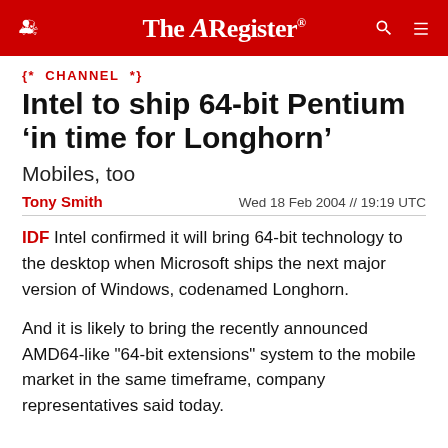The Register
{* CHANNEL *}
Intel to ship 64-bit Pentium 'in time for Longhorn'
Mobiles, too
Tony Smith   Wed 18 Feb 2004 // 19:19 UTC
IDF Intel confirmed it will bring 64-bit technology to the desktop when Microsoft ships the next major version of Windows, codenamed Longhorn.
And it is likely to bring the recently announced AMD64-like "64-bit extensions" system to the mobile market in the same timeframe, company representatives said today.